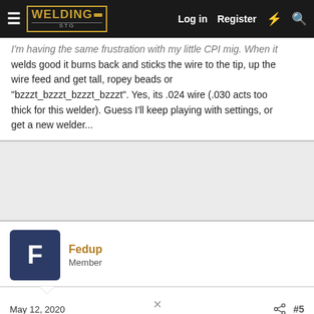WELDING STG — Log in | Register
I'm having the same frustration with my little CPI mig. When it welds good it burns back and sticks the wire to the tip, up the wire feed and get tall, ropey beads or "bzzzt_bzzzt_bzzzt_bzzzt". Yes, its .024 wire (.030 acts too thick for this welder). Guess I'll keep playing with settings, or get a new welder...
[Figure (other): Advertisement placeholder area]
Fedup
Member
May 12, 2020   #5
Guess that's one(more) of the drawbacks to small welders.